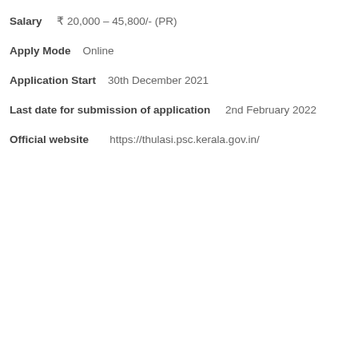Salary    ₹ 20,000 – 45,800/- (PR)
Apply Mode    Online
Application Start    30th December 2021
Last date for submission of application    2nd February 2022
Official website    https://thulasi.psc.kerala.gov.in/